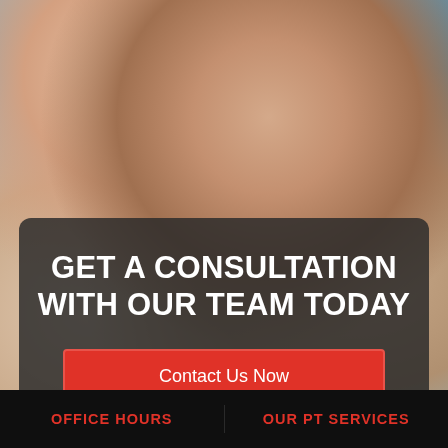[Figure (photo): Physical therapy consultation photo showing multiple hands — a therapist's hands working on a patient's arm/hand, with a teal towel visible in the background.]
GET A CONSULTATION WITH OUR TEAM TODAY
Contact Us Now
OFFICE HOURS    OUR PT SERVICES